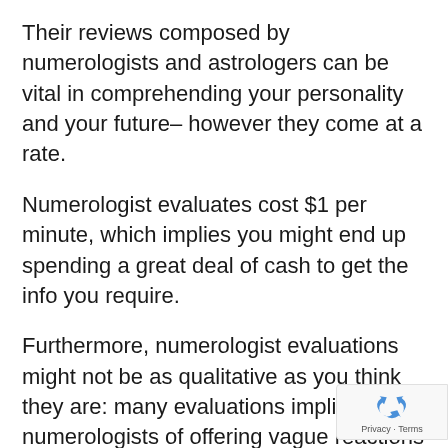Their reviews composed by numerologists and astrologers can be vital in comprehending your personality and your future– however they come at a rate.
Numerologist evaluates cost $1 per minute, which implies you might end up spending a great deal of cash to get the info you require.
Furthermore, numerologist evaluations might not be as qualitative as you think they are: many evaluations implicating numerologists of offering vague reactions to concerns about the future or utilizing the exact same generic findings for every single client without considering their specific charact or situations.
[Figure (logo): reCAPTCHA badge with recycling arrow logo and Privacy · Terms text]